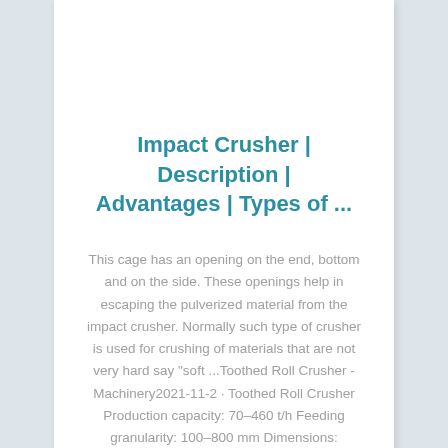Impact Crusher | Description | Advantages | Types of ...
This cage has an opening on the end, bottom and on the side. These openings help in escaping the pulverized material from the impact crusher. Normally such type of crusher is used for crushing of materials that are not very hard say "soft ...Toothed Roll Crusher - Machinery2021-11-2 · Toothed Roll Crusher Production capacity: 70–460 t/h Feeding granularity: 100–800 mm Dimensions: 2100×2450×2000–2500×4360×2400 mm Power: 74–320 kw